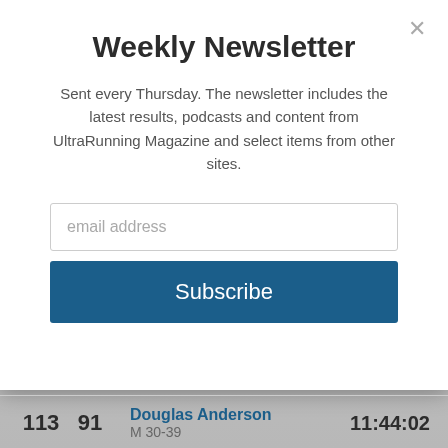Weekly Newsletter
Sent every Thursday. The newsletter includes the latest results, podcasts and content from UltraRunning Magazine and select items from other sites.
[Figure (screenshot): Email address input field with placeholder text 'email address']
[Figure (screenshot): Subscribe button in dark blue]
| Place | Cat Place | Name / Category | Time |
| --- | --- | --- | --- |
| 113 | 91 | Douglas Anderson / M 30-39 | 11:44:02 |
| 114 | 92 | Casey Walton / M 30-39 | 11:44:50 |
|  |  | Derek Whitney |  |